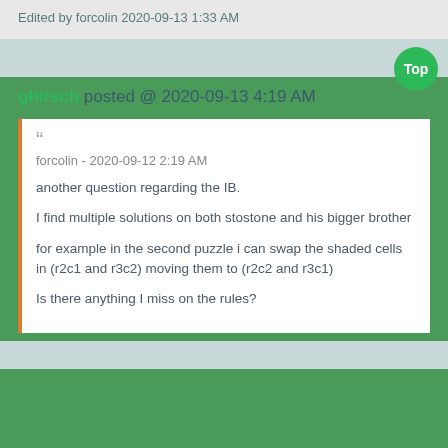Edited by forcolin 2020-09-13 1:33 AM
Top
ghirsch posted @ 2020-09-13 4:19 AM
forcolin - 2020-09-12 2:19 AM

another question regarding the IB.

I find multiple solutions on both stostone and his bigger brother

for example in the second puzzle i can swap the shaded cells in (r2c1 and r3c2) moving them to (r2c2 and r3c1)

Is there anything I miss on the rules?